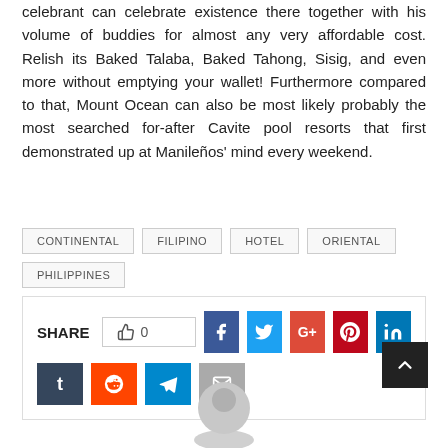celebrant can celebrate existence there together with his volume of buddies for almost any very affordable cost. Relish its Baked Talaba, Baked Tahong, Sisig, and even more without emptying your wallet! Furthermore compared to that, Mount Ocean can also be most likely probably the most searched for-after Cavite pool resorts that first demonstrated up at Manileños' mind every weekend.
CONTINENTAL
FILIPINO
HOTEL
ORIENTAL
PHILIPPINES
[Figure (infographic): Share buttons row with like counter (0), Facebook, Twitter, Google+, Pinterest, LinkedIn, Tumblr, Reddit, Telegram, Email icons]